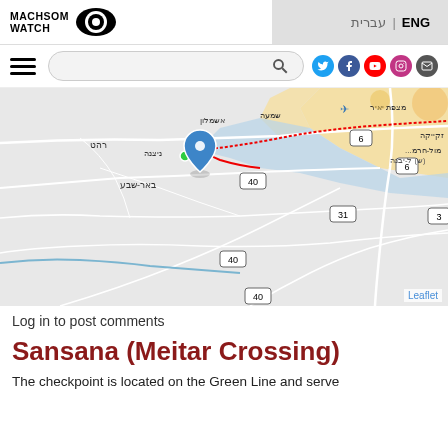[Figure (logo): Machsom Watch logo with eye icon and text]
ENG | עברית
[Figure (screenshot): Navigation bar with hamburger menu, search box, and social media icons (Twitter, Facebook, YouTube, Instagram, Email)]
[Figure (map): Leaflet map showing the Sansana/Meitar Crossing area near Beer Sheva in Israel/Palestine, with Hebrew labels, road numbers (6, 40, 31), and a blue map pin marker. Red lines indicate borders or barriers. Leaflet attribution shown.]
Log in to post comments
Sansana (Meitar Crossing)
The checkpoint is located on the Green Line and serve